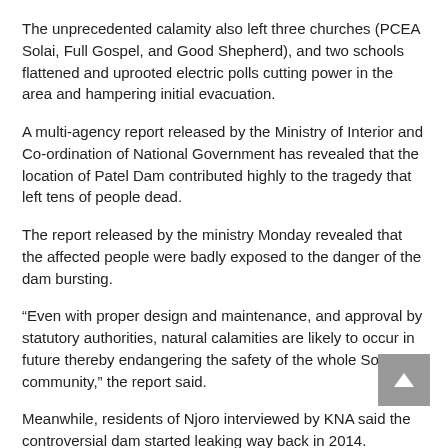The unprecedented calamity also left three churches (PCEA Solai, Full Gospel, and Good Shepherd), and two schools flattened and uprooted electric polls cutting power in the area and hampering initial evacuation.
A multi-agency report released by the Ministry of Interior and Co-ordination of National Government has revealed that the location of Patel Dam contributed highly to the tragedy that left tens of people dead.
The report released by the ministry Monday revealed that the affected people were badly exposed to the danger of the dam bursting.
“Even with proper design and maintenance, and approval by statutory authorities, natural calamities are likely to occur in future thereby endangering the safety of the whole Solai community,” the report said.
Meanwhile, residents of Njoro interviewed by KNA said the controversial dam started leaking way back in 2014.
By Anne Mwale